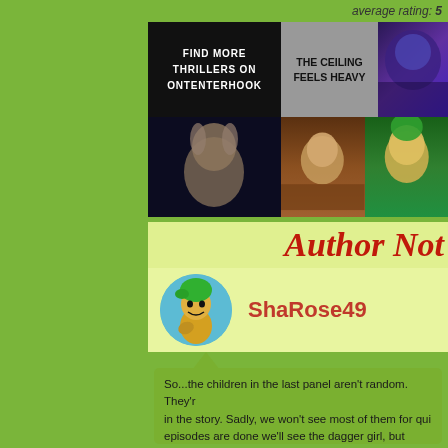average rating: 5
[Figure (screenshot): Grid of comic/thriller thumbnail images. Top left: black box with text FIND MORE THRILLERS ON ONTENTERHOOK. Top middle: grey box with THE CEILING FEELS HEAVY. Top right: purple-toned character image. Row 2: dark fantasy scene with elf, brown-toned character, green character smiling, red-toned close-up face.]
Author Not
[Figure (illustration): Circular avatar of a green-haired cartoon character holding something, on a blue circle background]
ShaRose49
So...the children in the last panel aren't random. They're in the story. Sadly, we won't see most of them for quite a while. Once 2 episodes are done we'll see the dagger girl, but grown up.
Hopefully this isn't disturbing to some of my younger viewers. I was a little disturbed but not to the point where she was a
And as for Kairo's random, snarky thoughts...we were Lol.